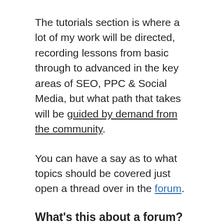The tutorials section is where a lot of my work will be directed, recording lessons from basic through to advanced in the key areas of SEO, PPC & Social Media, but what path that takes will be guided by demand from the community.
You can have a say as to what topics should be covered just open a thread over in the forum.
What's this about a forum?
As soon as you have created an account to access tutorials, you get immediate access